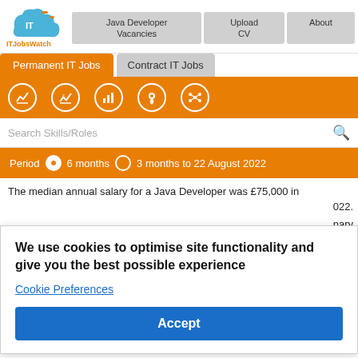[Figure (logo): ITJobsWatch logo with cloud icon and orange accents]
Java Developer Vacancies
Upload CV
About
Permanent IT Jobs
Contract IT Jobs
[Figure (infographic): Five white icon circles on orange background: trend chart, salary chart, bar chart, location pin, network]
Search Skills/Roles
Period  6 months  3 months to 22 August 2022
The median annual salary for a Java Developer was £75,000 in
022.
nary
us 2
We use cookies to optimise site functionality and give you the best possible experience
Cookie Preferences
Accept
Same
riod 2020
Rank